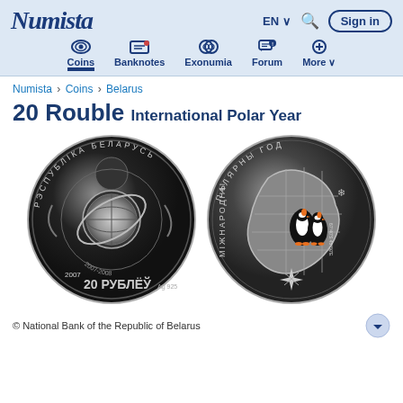Numista — EN — Search — Sign in — Coins, Banknotes, Exonumia, Forum, More
Numista › Coins › Belarus
20 Rouble International Polar Year
[Figure (photo): Obverse of Belarus 20 Rouble International Polar Year coin: silver coin with Cyrillic text РЭСПУБЛІКА БЕЛАРУСЬ around edge, central globe/satellite design with ring, text INTERNATIONAL POLAR YEAR, date 2007, value 20 РУБЛЁЎ Ag 925]
[Figure (photo): Reverse of Belarus 20 Rouble International Polar Year coin: silver coin with coloured penguins on Antarctica map, Cyrillic text ПАЛЯРНЫ ГОД and МІЖНАРОДНЫ, compass star, coordinates 67°40'S 45°50'E]
© National Bank of the Republic of Belarus